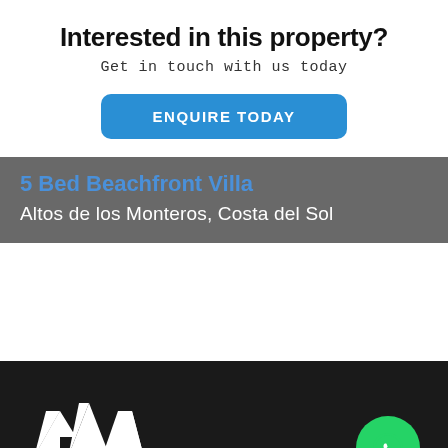Interested in this property?
Get in touch with us today
ENQUIRE TODAY
5 Bed Beachfront Villa
Altos de los Monteros, Costa del Sol
[Figure (logo): Apex Marbella Property logo with geometric mountain/chevron icon in white on dark background]
[Figure (other): WhatsApp contact button - green circle with white phone/chat icon]